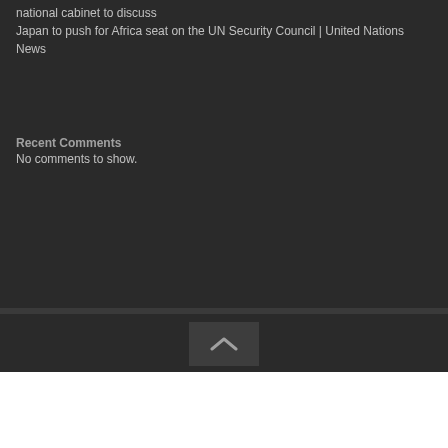national cabinet to discuss Japan to push for Africa seat on the UN Security Council | United Nations News
Recent Comments
No comments to show.
[Figure (other): Scroll-to-top button with upward chevron arrow icon, dark background]